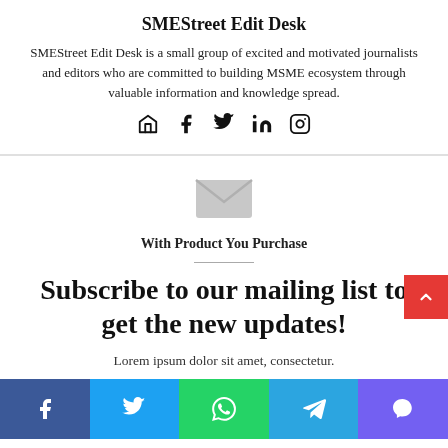SMEStreet Edit Desk
SMEStreet Edit Desk is a small group of excited and motivated journalists and editors who are committed to building MSME ecosystem through valuable information and knowledge spread.
[Figure (infographic): Social media icons: home, facebook, twitter, linkedin, instagram]
[Figure (infographic): Envelope/mail icon (grey)]
With Product You Purchase
Subscribe to our mailing list to get the new updates!
Lorem ipsum dolor sit amet, consectetur.
[Figure (infographic): Share bar with Facebook, Twitter, WhatsApp, Telegram, Viber buttons]